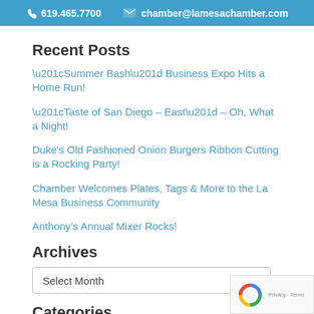619.465.7700  chamber@lamesachamber.com
Recent Posts
“Summer Bash” Business Expo Hits a Home Run!
“Taste of San Diego – East” – Oh, What a Night!
Duke's Old Fashioned Onion Burgers Ribbon Cutting is a Rocking Party!
Chamber Welcomes Plates, Tags & More to the La Mesa Business Community
Anthony’s Annual Mixer Rocks!
Archives
Select Month
Categories
Anniversary Celebrations